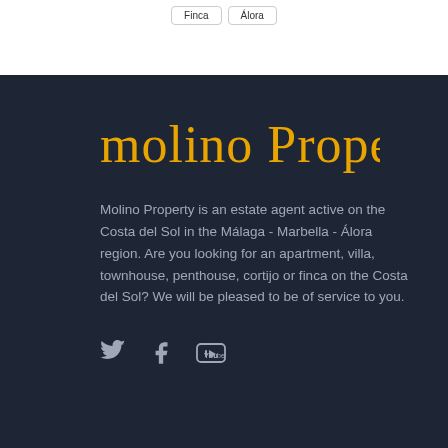[Figure (screenshot): Two buttons labeled 'Finca' and 'Álora' on a white background at the top of the page]
[Figure (logo): Molino Property logo in golden/yellow handwritten script on dark navy background]
Molino Property is an estate agent active on the Costa del Sol in the Málaga - Marbella - Álora region. Are you looking for an apartment, villa, townhouse, penthouse, cortijo or finca on the Costa del Sol? We will be pleased to be of service to you.
[Figure (other): Social media icons: Twitter bird, Facebook f, and YouTube play button in grey on dark background]